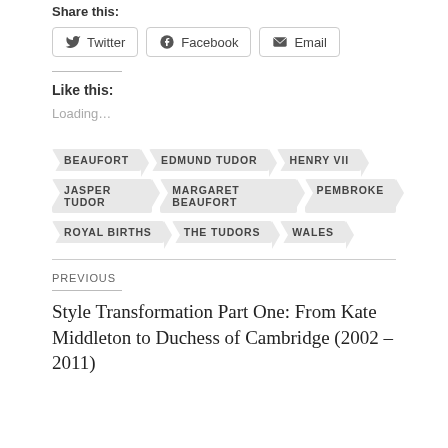Share this:
Twitter  Facebook  Email
Like this:
Loading...
BEAUFORT
EDMUND TUDOR
HENRY VII
JASPER TUDOR
MARGARET BEAUFORT
PEMBROKE
ROYAL BIRTHS
THE TUDORS
WALES
PREVIOUS
Style Transformation Part One: From Kate Middleton to Duchess of Cambridge (2002 – 2011)